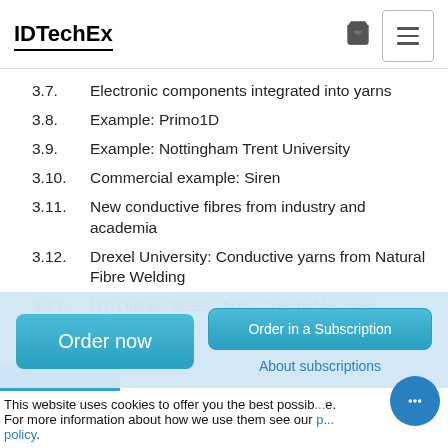IDTechEx
3.7. Electronic components integrated into yarns
3.8. Example: Primo1D
3.9. Example: Nottingham Trent University
3.10. Commercial example: Siren
3.11. New conductive fibres from industry and academia
3.12. Drexel University: Conductive yarns from Natural Fibre Welding
3.13. UT, Dallas: SEBS / NTS stretchable wires
Order now
Order in a Subscription
About subscriptions
This website uses cookies to offer you the best possible experience. For more information about how we use them see our privacy policy.